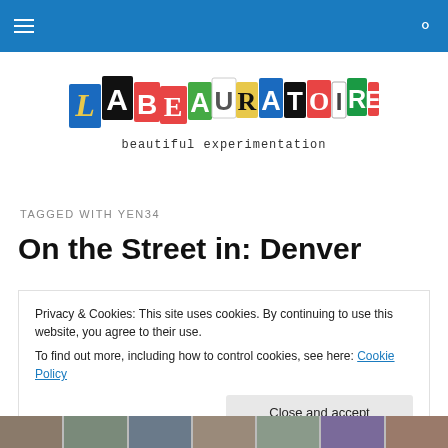Navigation bar with menu and search icons
[Figure (logo): Labeauratoire logo with colorful ransom-note style letters spelling LABEAURATOIRE and subtitle 'beautiful experimentation']
TAGGED WITH YEN34
On the Street in: Denver
Privacy & Cookies: This site uses cookies. By continuing to use this website, you agree to their use.
To find out more, including how to control cookies, see here: Cookie Policy
Close and accept
[Figure (photo): Strip of small thumbnail photos at the bottom of the page]